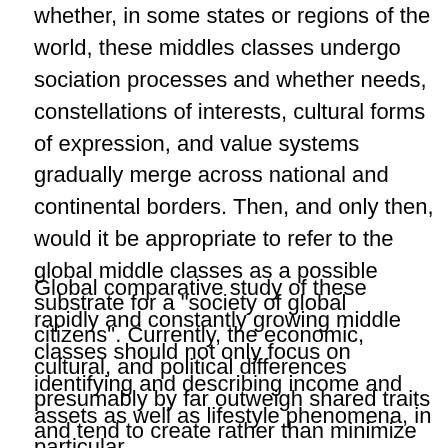whether, in some states or regions of the world, these middles classes undergo sociation processes and whether needs, constellations of interests, cultural forms of expression, and value systems gradually merge across national and continental borders. Then, and only then, would it be appropriate to refer to the global middle classes as a possible substrate for a "society of global citizens". Currently, the economic, cultural, and political differences presumably by far outweigh shared traits and tend to create rather than minimize differences.[92]
Global comparative study of these rapidly and constantly growing middle classes should not only focus on identifying and describing income and assets as well as lifestyle phenomena, in particular